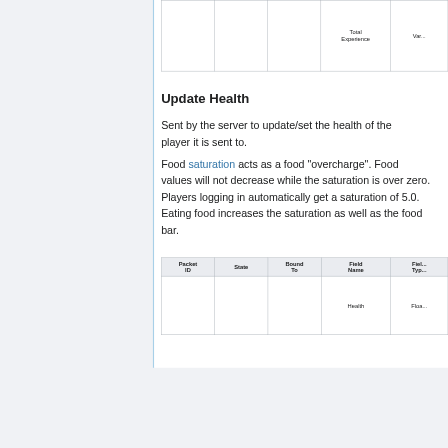| Packet ID | State | Bound To | Field Name | Field Type | Total Experience | Var... |
| --- | --- | --- | --- | --- | --- | --- |
|  |  |  |  |  |  |  |
Update Health
Sent by the server to update/set the health of the player it is sent to.
Food saturation acts as a food “overcharge”. Food values will not decrease while the saturation is over zero. Players logging in automatically get a saturation of 5.0. Eating food increases the saturation as well as the food bar.
| Packet ID | State | Bound To | Field Name | Field Type |
| --- | --- | --- | --- | --- |
|  |  |  | Health | Floa... |